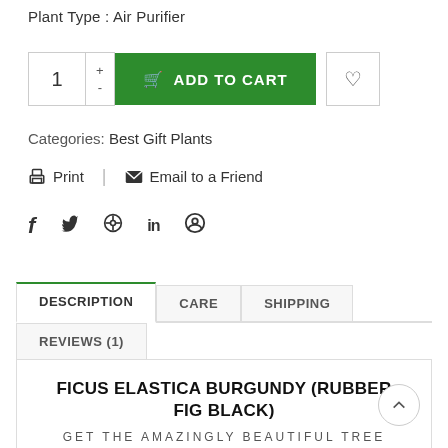Plant Type : Air Purifier
1 + - ADD TO CART ♡
Categories: Best Gift Plants
🖨 Print | ✉ Email to a Friend
f  𝕐  ⊕  in  ⊙
DESCRIPTION
CARE
SHIPPING
REVIEWS (1)
FICUS ELASTICA BURGUNDY (RUBBER FIG BLACK)
GET THE AMAZINGLY BEAUTIFUL TREE